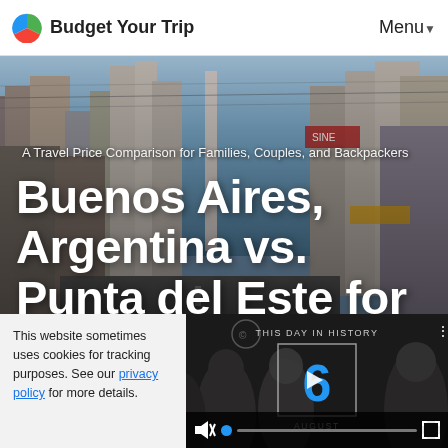Budget Your Trip | Menu
[Figure (photo): Street view of Buenos Aires city with tall buildings, traffic, and urban landscape, used as hero background image]
A Travel Price Comparison for Families, Couples, and Backpackers
Buenos Aires, Argentina vs. Punta del Este for Vacations, Tours, and Honeymoons
[Figure (screenshot): Video overlay showing 'This Day in History' with a large blue number 6 and the word AUGUST, with people silhouettes in background]
This website sometimes uses cookies for tracking purposes. See our privacy policy for more details.